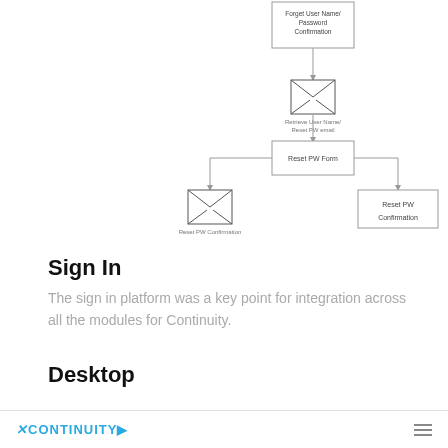[Figure (flowchart): Flowchart showing two branches: left branch from 'Forget User Name/Password Confirmation' box to email icon labeled 'Retrieve User Name/Reset PW email', then to 'Reset PW Form' box which splits into email icon labeled 'Reset PW Confirmation' and box labeled 'Reset PW Confirmation'. Right branch from 'New Account Created Confirmation' box to email icon labeled 'New Account confirmation'.]
Sign In
The sign in platform was a key point for integration across all the modules for Continuity.
Desktop
[Figure (screenshot): Screenshot of Continuity website header with logo and hamburger menu icon]